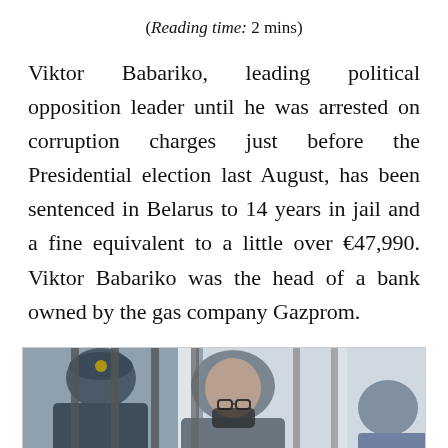(Reading time: 2 mins)
Viktor Babariko, leading political opposition leader until he was arrested on corruption charges just before the Presidential election last August, has been sentenced in Belarus to 14 years in jail and a fine equivalent to a little over €47,990. Viktor Babariko was the head of a bank owned by the gas company Gazprom.
[Figure (photo): Photograph of Viktor Babariko behind courtroom bars, with a guard in uniform visible to the left and another figure to the right.]